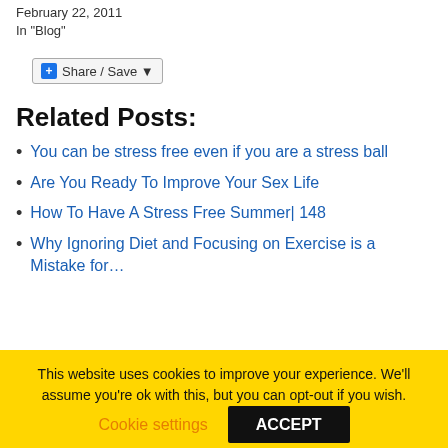February 22, 2011
In "Blog"
[Figure (other): Share / Save button with blue plus icon]
Related Posts:
You can be stress free even if you are a stress ball
Are You Ready To Improve Your Sex Life
How To Have A Stress Free Summer| 148
Why Ignoring Diet and Focusing on Exercise is a Mistake for…
This website uses cookies to improve your experience. We'll assume you're ok with this, but you can opt-out if you wish.
Cookie settings  ACCEPT